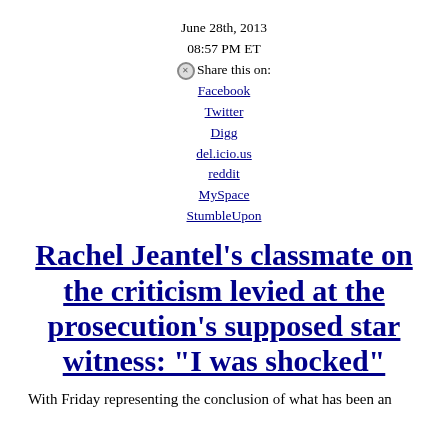June 28th, 2013
08:57 PM ET
Share this on:
Facebook
Twitter
Digg
del.icio.us
reddit
MySpace
StumbleUpon
Rachel Jeantel's classmate on the criticism levied at the prosecution's supposed star witness: "I was shocked"
With Friday representing the conclusion of what has been an